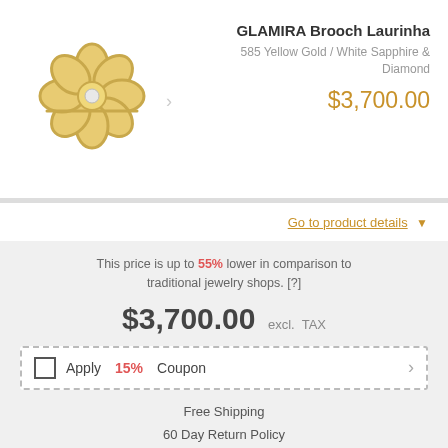[Figure (photo): GLAMIRA Brooch Laurinha jewelry product image - gold flower-shaped brooch with diamonds]
GLAMIRA Brooch Laurinha
585 Yellow Gold / White Sapphire & Diamond
$3,700.00
Go to product details
This price is up to 55% lower in comparison to traditional jewelry shops. [?]
$3,700.00 excl. TAX
Apply 15% Coupon
Free Shipping
60 Day Return Policy
Interest-Free Installments [?]
| 3 Months | 6 Months |
| --- | --- |
| $1,233.33 x 3 | $616.67 x 6 |